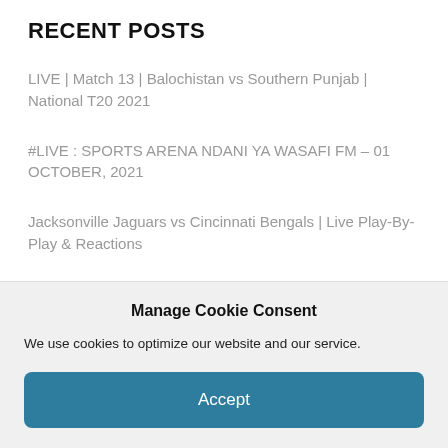RECENT POSTS
LIVE | Match 13 | Balochistan vs Southern Punjab | National T20 2021
#LIVE : SPORTS ARENA NDANI YA WASAFI FM – 01 OCTOBER, 2021
Jacksonville Jaguars vs Cincinnati Bengals | Live Play-By-Play & Reactions
LIVE | Match 12 | Sindh vs Khyber Pakhtunkhwa |
Manage Cookie Consent
We use cookies to optimize our website and our service.
Accept